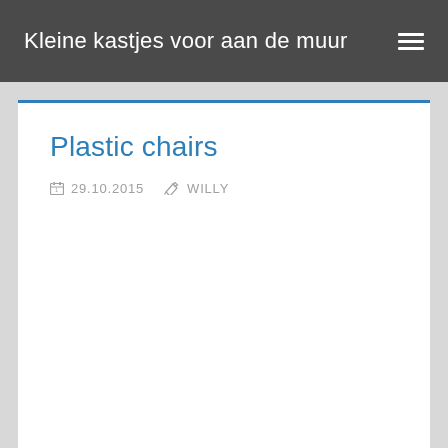Kleine kastjes voor aan de muur
Plastic chairs
29.10.2015  WILLY